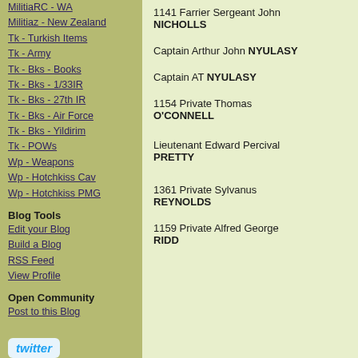MilitiaRC - WA
Militiaz - New Zealand
Tk - Turkish Items
Tk - Army
Tk - Bks - Books
Tk - Bks - 1/33IR
Tk - Bks - 27th IR
Tk - Bks - Air Force
Tk - Bks - Yildirim
Tk - POWs
Wp - Weapons
Wp - Hotchkiss Cav
Wp - Hotchkiss PMG
Blog Tools
Edit your Blog
Build a Blog
RSS Feed
View Profile
Open Community
Post to this Blog
[Figure (logo): Twitter logo in blue on light blue rounded background]
Biographical Research Links
1. First World War
1141 Farrier Sergeant John NICHOLLS
Captain Arthur John NYULASY
Captain AT NYULASY
1154 Private Thomas O'CONNELL
Lieutenant Edward Percival PRETTY
1361 Private Sylvanus REYNOLDS
1159 Private Alfred George RIDD